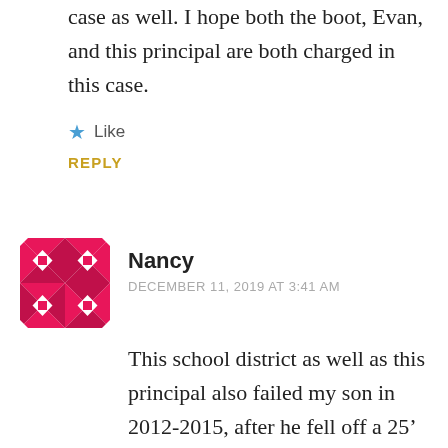case as well. I hope both the boot, Evan, and this principal are both charged in this case.
Like
REPLY
Nancy
DECEMBER 11, 2019 AT 3:41 AM
This school district as well as this principal also failed my son in 2012-2015, after he fell off a 25’ cliff. They tried to shuffle him from school to school, refused my initial request for an iep, lied on documentation saying I